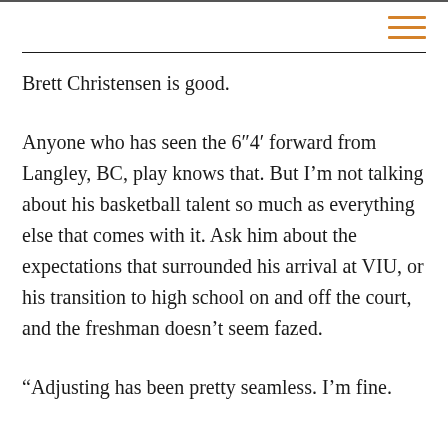Brett Christensen is good.
Anyone who has seen the 6"4' forward from Langley, BC, play knows that. But I'm not talking about his basketball talent so much as everything else that comes with it. Ask him about the expectations that surrounded his arrival at VIU, or his transition to high school on and off the court, and the freshman doesn't seem fazed.
“Adjusting has been pretty seamless. I’m fine.